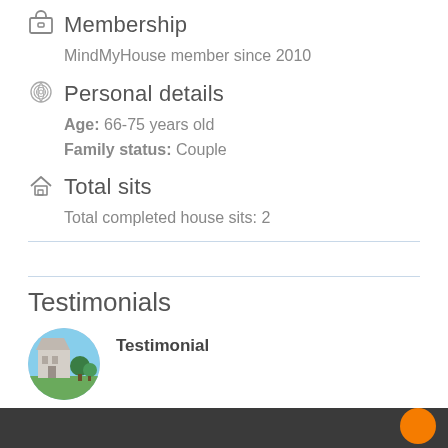Membership
MindMyHouse member since 2010
Personal details
Age: 66-75 years old
Family status: Couple
Total sits
Total completed house sits: 2
Testimonials
Testimonial